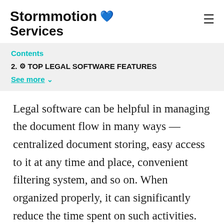Stormotion 💙💛 Services
Contents
2. ⚙ TOP LEGAL SOFTWARE FEATURES
See more ∨
Legal software can be helpful in managing the document flow in many ways — centralized document storing, easy access to it at any time and place, convenient filtering system, and so on. When organized properly, it can significantly reduce the time spent on such activities.